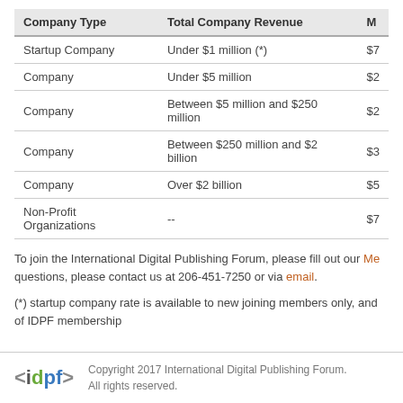| Company Type | Total Company Revenue | M |
| --- | --- | --- |
| Startup Company | Under $1 million (*) | $7 |
| Company | Under $5 million | $2 |
| Company | Between $5 million and $250 million | $2 |
| Company | Between $250 million and $2 billion | $3 |
| Company | Over $2 billion | $5 |
| Non-Profit Organizations | -- | $7 |
To join the International Digital Publishing Forum, please fill out our Me... questions, please contact us at 206-451-7250 or via email.
(*) startup company rate is available to new joining members only, and of IDPF membership
Copyright 2017 International Digital Publishing Forum. All rights reserved.